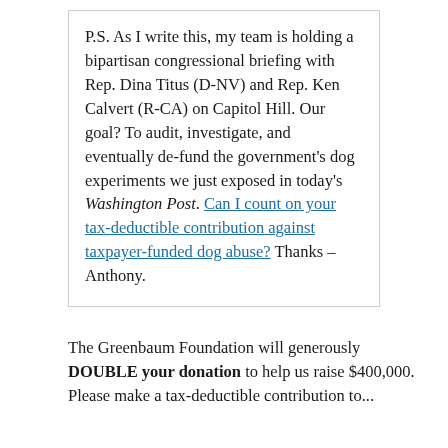P.S. As I write this, my team is holding a bipartisan congressional briefing with Rep. Dina Titus (D-NV) and Rep. Ken Calvert (R-CA) on Capitol Hill. Our goal? To audit, investigate, and eventually de-fund the government's dog experiments we just exposed in today's Washington Post. Can I count on your tax-deductible contribution against taxpayer-funded dog abuse? Thanks – Anthony.
The Greenbaum Foundation will generously DOUBLE your donation to help us raise $400,000. Please make a tax-deductible contribution to...